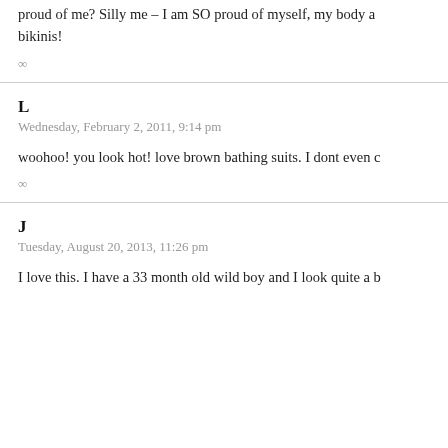proud of me? Silly me – I am SO proud of myself, my body and bikinis!
∞
L
Wednesday, February 2, 2011, 9:14 pm
woohoo! you look hot! love brown bathing suits. I dont even c
∞
J
Tuesday, August 20, 2013, 11:26 pm
I love this. I have a 33 month old wild boy and I look quite a b